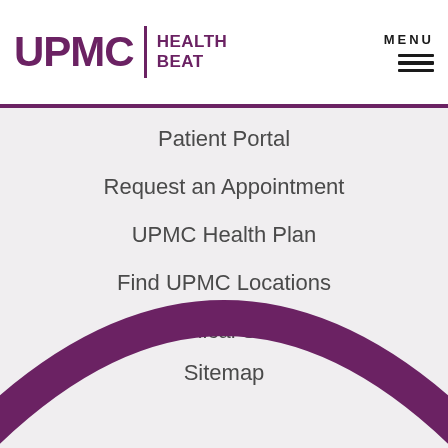UPMC | HEALTH BEAT
Patient Portal
Request an Appointment
UPMC Health Plan
Find UPMC Locations
Our Clinical Services
Sitemap
[Figure (illustration): Large purple semi-circular arc decorative graphic at the bottom of the page]